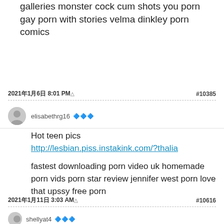galleries monster cock cum shots you porn gay porn with stories velma dinkley porn comics
2021年1月6日 8:01 PM
#10385
elisabethrg16
Hot teen pics
http://lesbian.piss.instakink.com/?thalia

fastest downloading porn video uk homemade porn vids porn star review jennifer west porn love that upssy free porn
2021年1月11日 3:03 AM
#10616
shellyat4